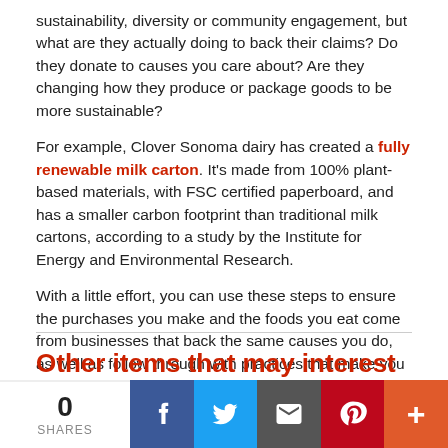sustainability, diversity or community engagement, but what are they actually doing to back their claims? Do they donate to causes you care about? Are they changing how they produce or package goods to be more sustainable?
For example, Clover Sonoma dairy has created a fully renewable milk carton. It's made from 100% plant-based materials, with FSC certified paperboard, and has a smaller carbon footprint than traditional milk cartons, according to a study by the Institute for Energy and Environmental Research.
With a little effort, you can use these steps to ensure the purchases you make and the foods you eat come from businesses that back the same causes you do, as well as follow through with practices that make you feel good about supporting them.
Other items that may interest you
0 SHARES | Facebook | Twitter | Email | Pinterest | More